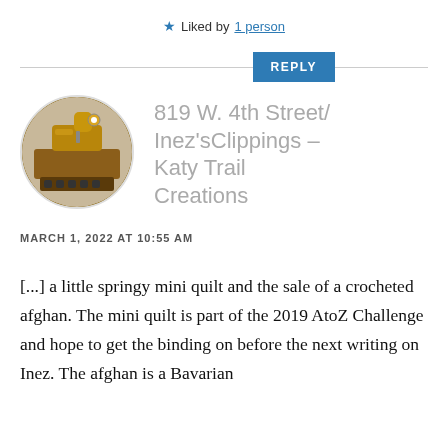★ Liked by 1 person
REPLY
[Figure (photo): Circular avatar image showing an antique treadle sewing machine on a wooden cabinet with decorative ironwork base]
819 W. 4th Street/Inez'sClippings – Katy Trail Creations
MARCH 1, 2022 AT 10:55 AM
[...] a little springy mini quilt and the sale of a crocheted afghan. The mini quilt is part of the 2019 AtoZ Challenge and hope to get the binding on before the next writing on Inez. The afghan is a Bavarian